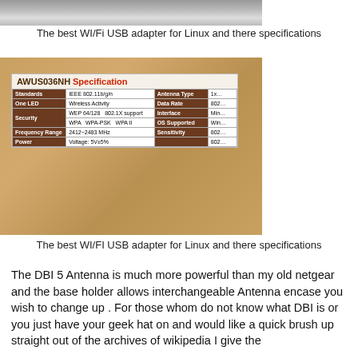[Figure (photo): Top portion of a WiFi USB adapter photo (cropped, showing bottom part of device)]
The best WI/Fi USB adapter for Linux and there specifications
[Figure (photo): Photo of AWUS036NH specification label showing: Standards: IEEE 802.11b/g/n, One LED: Wireless Activity, Security: WEP 64/128 / 802.1X support / WPA / WPA-PSK / WPA II, Frequency Range: 2412~2483 MHz, Power: Voltage 5V±5%, Antenna Type: partially visible, Data Rate: partially visible, Interface: partially visible, OS Supported: partially visible, Sensitivity: partially visible]
The best WI/FI USB adapter for Linux and there specifications
The DBI 5 Antenna is much more powerful than my old netgear and the base holder allows interchangeable Antenna encase you wish to change up . For those whom do not know what DBI is or you just have your geek hat on and would like a quick brush up straight out of the archives of wikipedia I give the